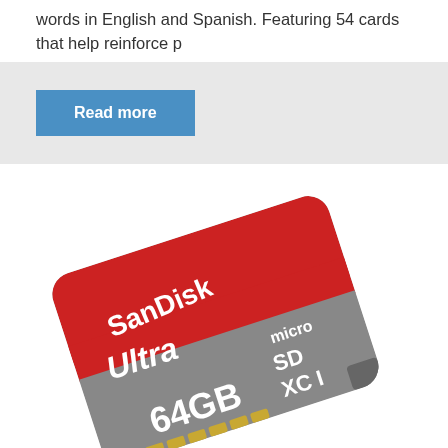words in English and Spanish. Featuring 54 cards that help reinforce p
Read more
[Figure (photo): SanDisk Ultra 64GB microSDXC I memory card, shown at an angle. The card has a red upper portion with 'SanDisk Ultra' text in white, and a grey lower portion with '64GB' and 'micro SD XC I' text in white.]